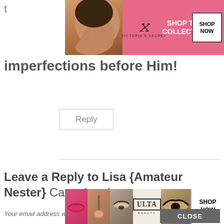[Figure (photo): Victoria's Secret advertisement banner with model, pink background, shop the collection button]
imperfections before Him!
Reply
Leave a Reply to Lisa {Amateur Nester}  Cancel reply
Your email address will not be published. Required fields are marked *
[Figure (photo): Ulta Beauty advertisement banner with makeup images and shop now button]